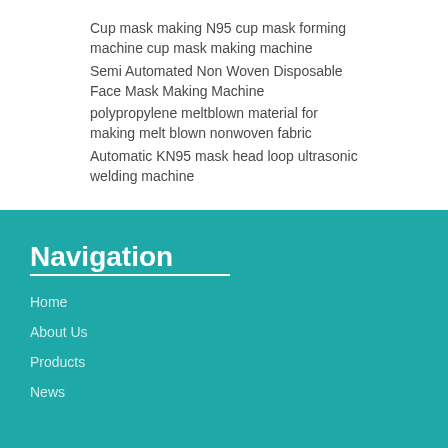Cup mask making N95 cup mask forming machine cup mask making machine
Semi Automated Non Woven Disposable Face Mask Making Machine
polypropylene meltblown material for making melt blown nonwoven fabric
Automatic KN95 mask head loop ultrasonic welding machine
Navigation
Home
About Us
Products
News